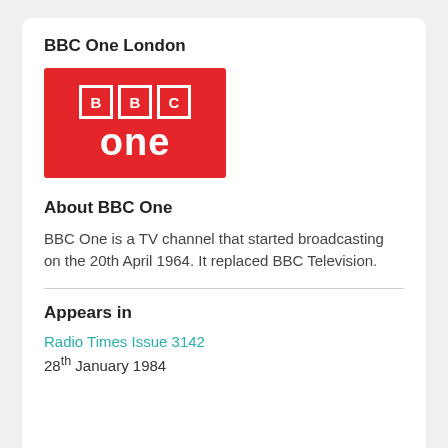BBC One London
[Figure (logo): BBC One logo: red rectangle containing white BBC letter blocks and white 'one' text below]
About BBC One
BBC One is a TV channel that started broadcasting on the 20th April 1964. It replaced BBC Television.
Appears in
Radio Times Issue 3142
28th January 1984